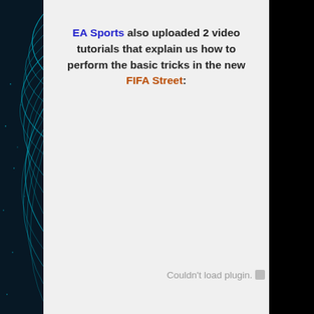EA Sports also uploaded 2 video tutorials that explain us how to perform the basic tricks in the new FIFA Street:
[Figure (other): Embedded video plugin area showing 'Couldn't load plugin.' error message on a light gray background]